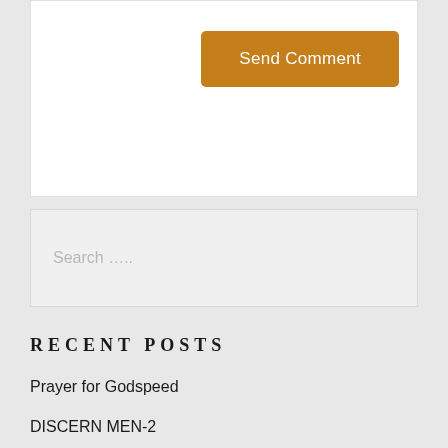[Figure (other): Send Comment button (orange/amber colored button with white text)]
Search .....
RECENT POSTS
Prayer for Godspeed
DISCERN MEN-2